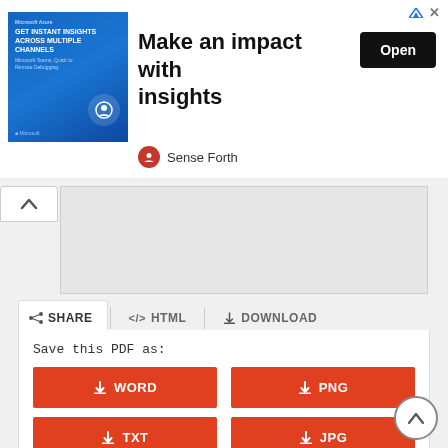[Figure (screenshot): Advertisement banner: image of woman with Microsoft/Power BI branding on left, text 'Make an impact with insights' in center, black 'Open' button on right, 'Sense Forth' brand below, close/skip controls top right]
[Figure (screenshot): Document viewer with collapsed tab showing caret up icon and grey preview area]
SHARE   </> HTML   DOWNLOAD
Save this PDF as:
WORD
PNG
TXT
JPG